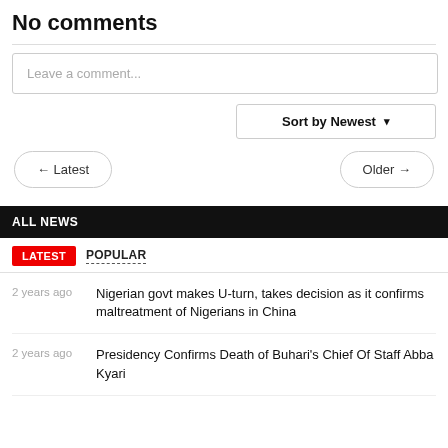No comments
Leave a comment...
Sort by Newest ▾
← Latest
Older →
ALL NEWS
LATEST   POPULAR
2 years ago   Nigerian govt makes U-turn, takes decision as it confirms maltreatment of Nigerians in China
2 years ago   Presidency Confirms Death of Buhari's Chief Of Staff Abba Kyari